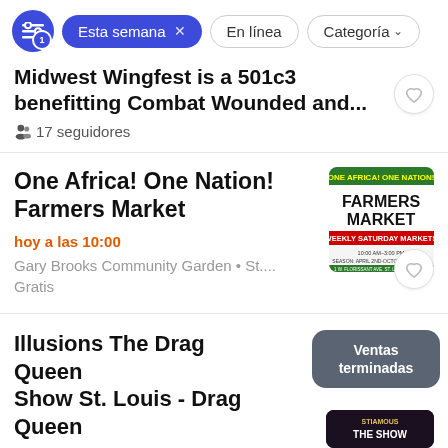Esta semana × | En línea | Categoría
Midwest Wingfest is a 501c3 benefitting Combat Wounded and... 17 seguidores
One Africa! One Nation! Farmers Market
hoy a las 10:00
Gary Brooks Community Garden • St....
Gratis
Illusions The Drag Queen Show St. Louis - Drag Queen